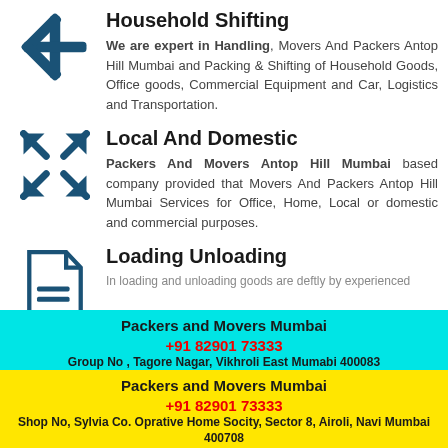Household Shifting
We are expert in Handling, Movers And Packers Antop Hill Mumbai and Packing & Shifting of Household Goods, Office goods, Commercial Equipment and Car, Logistics and Transportation.
Local And Domestic
Packers And Movers Antop Hill Mumbai based company provided that Movers And Packers Antop Hill Mumbai Services for Office, Home, Local or domestic and commercial purposes.
Loading Unloading
In loading and unloading goods are deftly by experienced
Packers and Movers Mumbai
+91 82901 73333
Group No , Tagore Nagar, Vikhroli East Mumabi 400083
Packers and Movers Mumbai
+91 82901 73333
Shop No, Sylvia Co. Oprative Home Socity, Sector 8, Airoli, Navi Mumbai 400708
Relocation Services